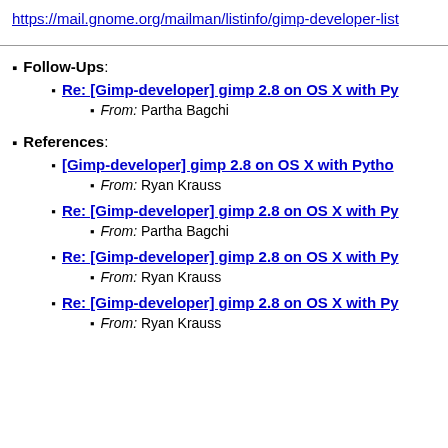https://mail.gnome.org/mailman/listinfo/gimp-developer-list
Follow-Ups:
Re: [Gimp-developer] gimp 2.8 on OS X with Py...
From: Partha Bagchi
References:
[Gimp-developer] gimp 2.8 on OS X with Pytho...
From: Ryan Krauss
Re: [Gimp-developer] gimp 2.8 on OS X with Py...
From: Partha Bagchi
Re: [Gimp-developer] gimp 2.8 on OS X with Py...
From: Ryan Krauss
Re: [Gimp-developer] gimp 2.8 on OS X with Py...
From: Ryan Krauss